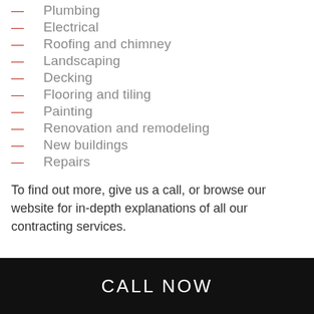Plumbing
Electrical
Roofing and chimney
Landscaping
Decking
Flooring and tiling
Painting
Renovation and remodeling
New buildings
Repairs
To find out more, give us a call, or browse our website for in-depth explanations of all our contracting services.
CALL NOW